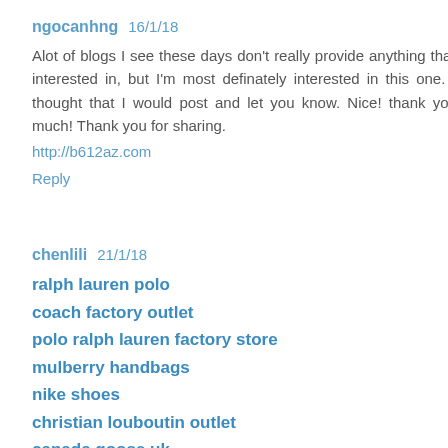ngocanhng  16/1/18
Alot of blogs I see these days don't really provide anything that I'm interested in, but I'm most definately interested in this one. Just thought that I would post and let you know. Nice! thank you so much! Thank you for sharing.
http://b612az.com
Reply
chenlili  21/1/18
ralph lauren polo
coach factory outlet
polo ralph lauren factory store
mulberry handbags
nike shoes
christian louboutin outlet
canada goose uk
ray ban sunglasses
oakley sunglasses wholesale